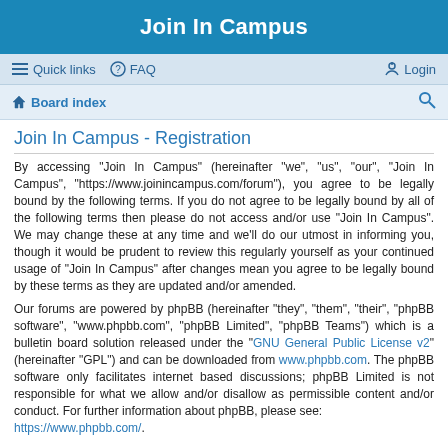Join In Campus
Quick links  FAQ  Login
Board index
Join In Campus - Registration
By accessing “Join In Campus” (hereinafter “we”, “us”, “our”, “Join In Campus”, “https://www.joinincampus.com/forum”), you agree to be legally bound by the following terms. If you do not agree to be legally bound by all of the following terms then please do not access and/or use “Join In Campus”. We may change these at any time and we’ll do our utmost in informing you, though it would be prudent to review this regularly yourself as your continued usage of “Join In Campus” after changes mean you agree to be legally bound by these terms as they are updated and/or amended.
Our forums are powered by phpBB (hereinafter “they”, “them”, “their”, “phpBB software”, “www.phpbb.com”, “phpBB Limited”, “phpBB Teams”) which is a bulletin board solution released under the “GNU General Public License v2” (hereinafter “GPL”) and can be downloaded from www.phpbb.com. The phpBB software only facilitates internet based discussions; phpBB Limited is not responsible for what we allow and/or disallow as permissible content and/or conduct. For further information about phpBB, please see: https://www.phpbb.com/.